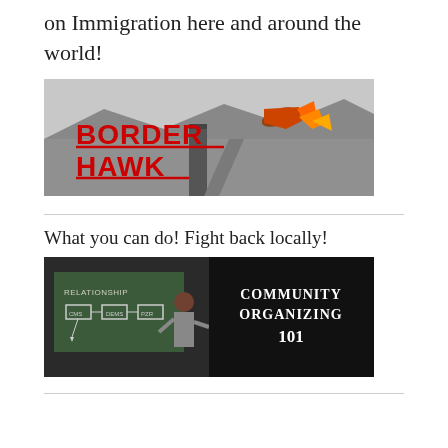on Immigration here and around the world!
[Figure (illustration): Border Hawk logo banner showing a border wall with a hawk flying above it in a desert landscape, black and white photo with red text overlay reading BORDER HAWK]
What you can do! Fight back locally!
[Figure (illustration): Community Organizing 101 image showing a man writing on a chalkboard with white text on black background reading Community Organizing 101]